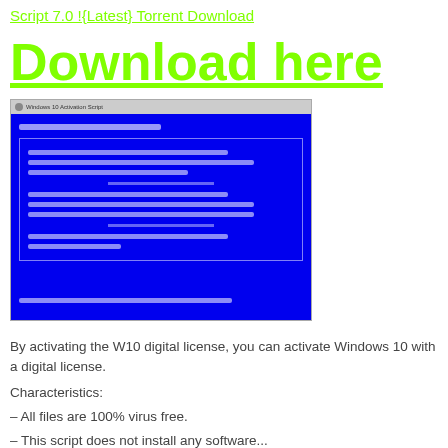Script 7.0 !{Latest} Torrent Download
Download here
[Figure (screenshot): Screenshot of a Windows application dialog on a blue background showing menu options and list items]
By activating the W10 digital license, you can activate Windows 10 with a digital license.
Characteristics:
– All files are 100% virus free.
– This script does not install any software...